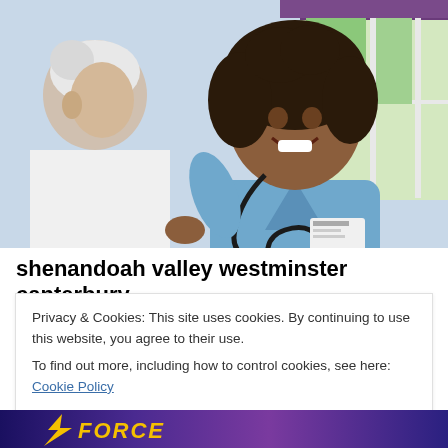[Figure (photo): A smiling female nurse in blue scrubs with a stethoscope around her neck, holding the hand of an elderly male patient in a hospital bed. Window with purple curtains visible in background.]
shenandoah valley westminster canterbury Licensed Practical Nurse (LPN/LVN): Jobs in
Privacy & Cookies: This site uses cookies. By continuing to use this website, you agree to their use.
To find out more, including how to control cookies, see here: Cookie Policy
Close and accept
[Figure (logo): Bottom banner with stylized lightning bolt logo and partial text reading FORCE in yellow italic letters on a dark purple/blue background.]